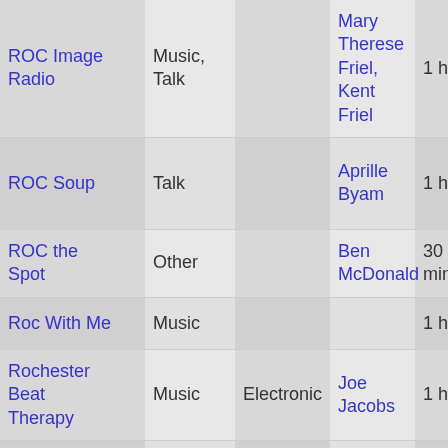| Show | Type | Genre | Host | Duration |
| --- | --- | --- | --- | --- |
| ROC Image Radio | Music, Talk |  | Mary Therese Friel, Kent Friel | 1 hour |
| ROC Soup | Talk |  | Aprille Byam | 1 hour |
| ROC the Spot | Other |  | Ben McDonald | 30 minutes |
| Roc With Me | Music |  |  | 1 hour |
| Rochester Beat Therapy | Music | Electronic | Joe Jacobs | 1 hour |
| Rockin' | Music | Rock | Dave | 1 hour |